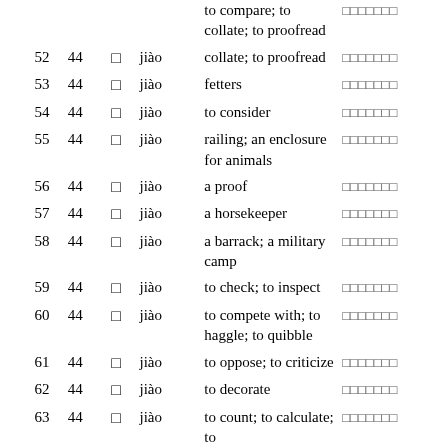| # | Rad | Char | Pinyin | Definition | Chinese |
| --- | --- | --- | --- | --- | --- |
|  |  |  |  | to compare; to collate; to proofread | □□□□□□□ |
| 52 | 44 | □ | jiào | collate; to proofread | □□□□□□□ |
| 53 | 44 | □ | jiào | fetters | □□□□□□□ |
| 54 | 44 | □ | jiào | to consider | □□□□□□□ |
| 55 | 44 | □ | jiào | railing; an enclosure for animals | □□□□□□□ |
| 56 | 44 | □ | jiào | a proof | □□□□□□□ |
| 57 | 44 | □ | jiào | a horsekeeper | □□□□□□□ |
| 58 | 44 | □ | jiào | a barrack; a military camp | □□□□□□□ |
| 59 | 44 | □ | jiào | to check; to inspect | □□□□□□□ |
| 60 | 44 | □ | jiào | to compete with; to haggle; to quibble | □□□□□□□ |
| 61 | 44 | □ | jiào | to oppose; to criticize | □□□□□□□ |
| 62 | 44 | □ | jiào | to decorate | □□□□□□□ |
| 63 | 44 | □ | jiào | to count; to calculate; to | □□□□□□□ |